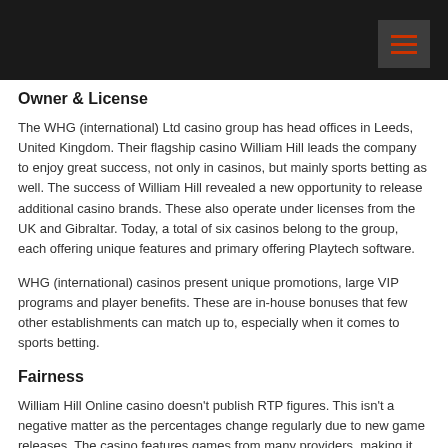Owner & License
The WHG (international) Ltd casino group has head offices in Leeds, United Kingdom. Their flagship casino William Hill leads the company to enjoy great success, not only in casinos, but mainly sports betting as well. The success of William Hill revealed a new opportunity to release additional casino brands. These also operate under licenses from the UK and Gibraltar. Today, a total of six casinos belong to the group, each offering unique features and primary offering Playtech software.
WHG (international) casinos present unique promotions, large VIP programs and player benefits. These are in-house bonuses that few other establishments can match up to, especially when it comes to sports betting.
Fairness
William Hill Online casino doesn't publish RTP figures. This isn't a negative matter as the percentages change regularly due to new game releases. The casino features games from many providers, making it harder to provide accurate information. Yet, you can trust in fairness as they provide games from